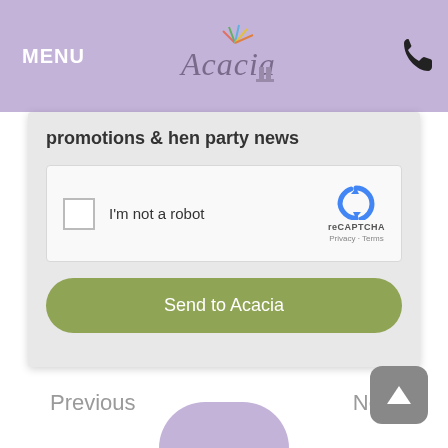MENU  Acacia  [phone icon]
promotions & hen party news
[Figure (screenshot): reCAPTCHA widget with checkbox labeled 'I'm not a robot' and reCAPTCHA logo with Privacy - Terms links]
Send to Acacia
Previous
Next
[Figure (other): Scroll to top button with upward arrow triangle, grey rounded square]